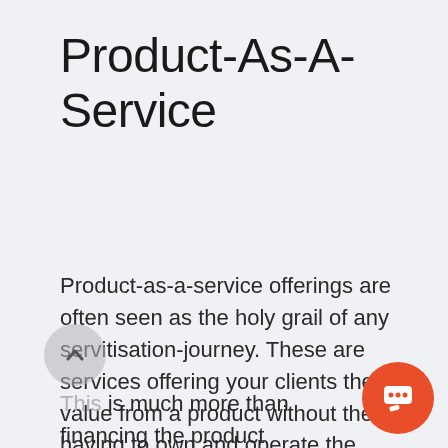Product-As-A-Service
Product-as-a-service offerings are often seen as the holy grail of any servitisation-journey. These are services offering your clients the value from a product without them having to own and operate the product themselves. They outsource (part of) the operations around the product.
This is much more than financing the product